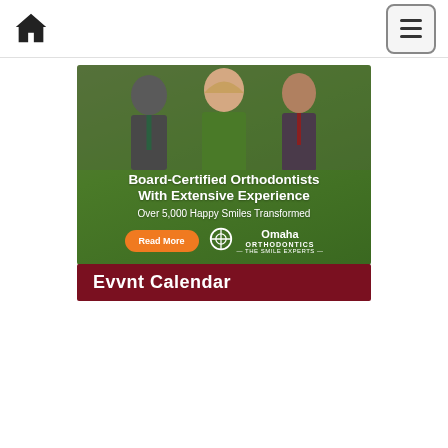Home | Menu
[Figure (photo): Advertisement banner for Omaha Orthodontics showing three orthodontists in suits on a green background with text 'Board-Certified Orthodontists With Extensive Experience', 'Over 5,000 Happy Smiles Transformed', a 'Read More' button, and the Omaha Orthodontics logo.]
Evvnt Calendar